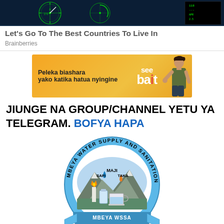[Figure (screenshot): Dark cockpit instrument panel / navigation display screenshot used as advertisement banner image]
Let's Go To The Best Countries To Live In
Brainberries
[Figure (advertisement): SeeBait advertisement banner with orange/yellow background, text 'Peleka biashara yako katika hatua nyingine' and SeeBait logo with a person]
JIUNGE NA GROUP/CHANNEL YETU YA TELEGRAM. BOFYA HAPA
[Figure (logo): Mbeya Water Supply and Sanitation Authority (MBEYA WSSA) circular logo with mountain landscape, water droplets, torch, water containers and text around the border]